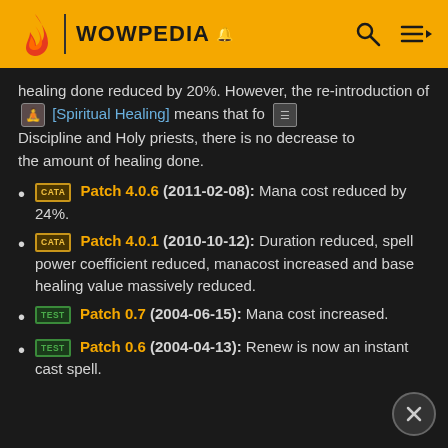WOWPEDIA
healing done reduced by 20%. However, the re-introduction of [Spiritual Healing] means that for Discipline and Holy priests, there is no decrease to the amount of healing done.
Patch 4.0.6 (2011-02-08): Mana cost reduced by 24%.
Patch 4.0.1 (2010-10-12): Duration reduced, spell power coefficient reduced, manacost increased and base healing value massively reduced.
Patch 0.7 (2004-06-15): Mana cost increased.
Patch 0.6 (2004-04-13): Renew is now an instant cast spell.